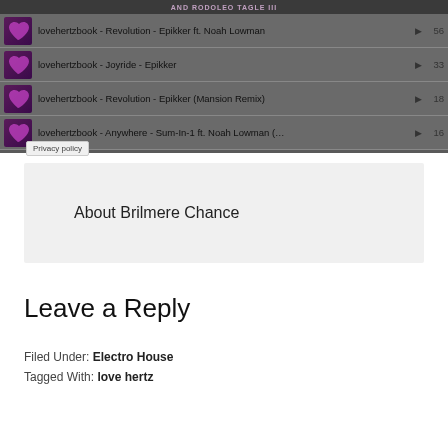[Figure (screenshot): Music player widget showing tracklist with play counts. Header bar with text 'AND RODOLEO TAGLE III'. Four tracks listed: lovehertzbook - Revolution - Epikker ft. Noah Lowman (56 plays), lovehertzbook - Joyride - Epikker (33 plays), lovehertzbook - Revolution - Epikker (Mansion Remix) (18 plays), lovehertzbook - Anywhere - Sum-In-1 ft. Noah Lowman (... (16 plays). Privacy policy tooltip visible.]
About Brilmere Chance
Leave a Reply
Filed Under: Electro House
Tagged With: love hertz